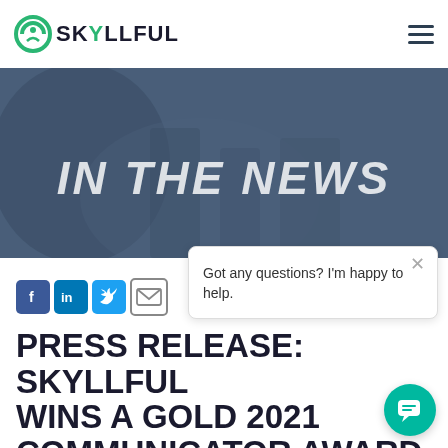SKYLLFUL
[Figure (photo): Dark blueish banner hero image with text 'IN THE NEWS' in large italic white bold uppercase letters, background shows blurred office/workspace scene]
[Figure (infographic): Social media sharing icons: Facebook (blue f), LinkedIn (blue in), Twitter (blue bird), Email (envelope)]
[Figure (screenshot): Chat popup overlay with close X button and text: Got any questions? I'm happy to help.]
PRESS RELEASE: SKYLLFUL WINS A GOLD 2021 COMMUNICATOR AWARD